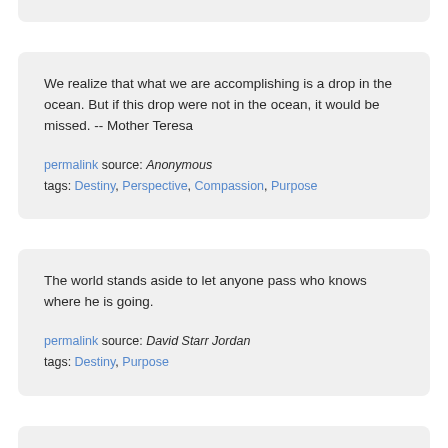We realize that what we are accomplishing is a drop in the ocean. But if this drop were not in the ocean, it would be missed. -- Mother Teresa
permalink source: Anonymous
tags: Destiny, Perspective, Compassion, Purpose
The world stands aside to let anyone pass who knows where he is going.
permalink source: David Starr Jordan
tags: Destiny, Purpose
This happens in the midst of affluent societies and in the midst of welfare states! For too long we have been dreaming a dream from which we